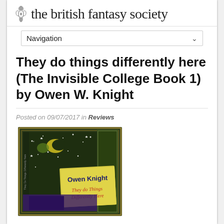the british fantasy society
Navigation
They do things differently here (The Invisible College Book 1) by Owen W. Knight
Posted on 09/07/2017 in Reviews
[Figure (photo): Book cover of 'They do Things Differently Here' by Owen Knight, featuring a decorative border with stars and moons on a dark green and purple background, with a yellow note-like panel showing the author name and title in stylized text.]